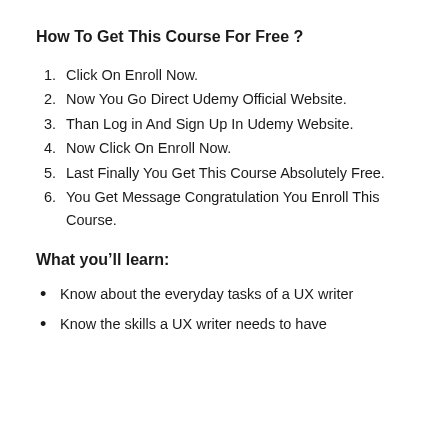How To Get This Course For Free ?
1. Click On Enroll Now.
2. Now You Go Direct Udemy Official Website.
3. Than Log in And Sign Up In Udemy Website.
4. Now Click On Enroll Now.
5. Last Finally You Get This Course Absolutely Free.
6. You Get Message Congratulation You Enroll This Course.
What you'll learn:
Know about the everyday tasks of a UX writer
Know the skills a UX writer needs to have